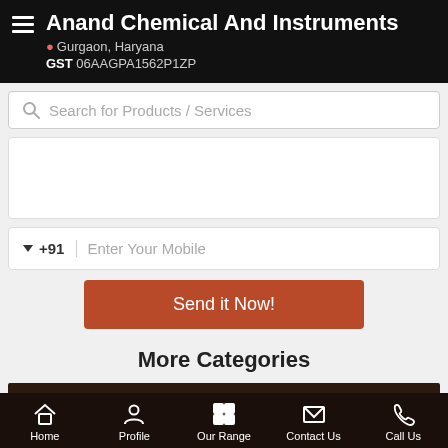Anand Chemical And Instruments
Gurgaon, Haryana
GST 06AAGPA1562P1ZP
Search for Products / Services
▼ +91   Enter Your Mobile
Send it Now!
More Categories
Vetro Clean
Home   Profile   Our Range   Contact Us   Call Us